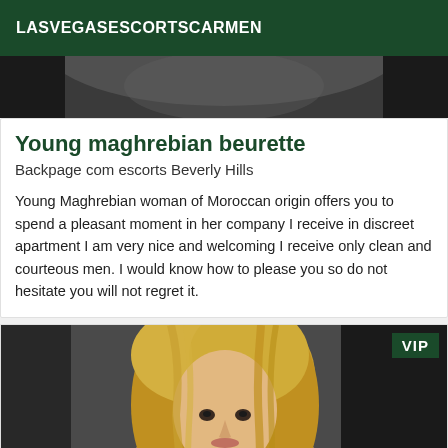LASVEGASESCORTSCARMEN
[Figure (photo): Partial photo of a person, dark background, cropped at top]
Young maghrebian beurette
Backpage com escorts Beverly Hills
Young Maghrebian woman of Moroccan origin offers you to spend a pleasant moment in her company I receive in discreet apartment I am very nice and welcoming I receive only clean and courteous men. I would know how to please you so do not hesitate you will not regret it.
[Figure (photo): Photo of a blonde woman, with VIP badge in the top right corner]